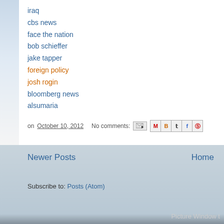iraq
cbs news
face the nation
bob schieffer
jake tapper
foreign policy
josh rogin
bloomberg news
alsumaria
on October 10, 2012   No comments:
Newer Posts
Home
Subscribe to: Posts (Atom)
Picture Window t